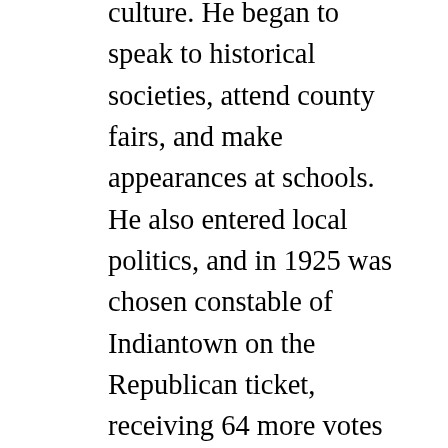culture. He began to speak to historical societies, attend county fairs, and make appearances at schools. He also entered local politics, and in 1925 was chosen constable of Indiantown on the Republican ticket, receiving 64 more votes than his opponent (Summary Under the Criteria and Evidence for Proposed Finding Huron Potawatomi, Inc., 1995, p. 333).
Public relations by the NHBP were already in place before Samuel Mandoka became influential in the group, but he greatly intensified them. Throughout his leadership, the Pine Creek Reservation residents appeared in numerous pageants, at fairs, parades, and more. On these occasions, the group demonstrated traditional crafts such as basket making (Summary Under the Criteria and Evidence for Proposed Finding Huron...